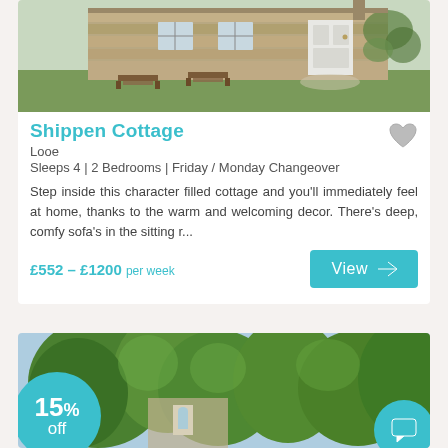[Figure (photo): Photo of Shippen Cottage exterior — stone cottage with white door, lawn, picnic tables]
Shippen Cottage
Looe
Sleeps 4 | 2 Bedrooms | Friday / Monday Changeover
Step inside this character filled cottage and you'll immediately feel at home, thanks to the warm and welcoming decor. There's deep, comfy sofa's in the sitting r...
£552 – £1200 per week
View
[Figure (photo): Photo of another property with trees and stone building visible, with 15% off badge]
15% off